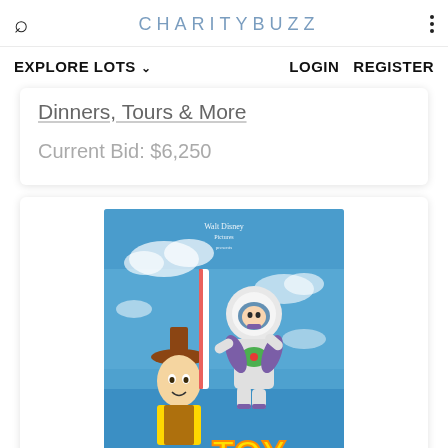CHARITYBUZZ
EXPLORE LOTS ∨   LOGIN  REGISTER
Dinners, Tours & More
Current Bid: $6,250
[Figure (photo): Toy Story movie poster showing Buzz Lightyear flying above Woody, with 'Walt Disney Pictures presents' text at top and 'TOY STORY' logo in yellow and red at bottom right]